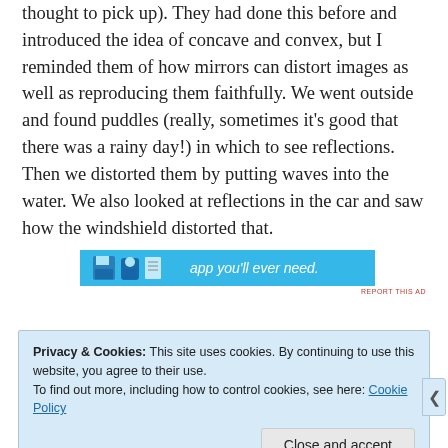thought to pick up). They had done this before and introduced the idea of concave and convex, but I reminded them of how mirrors can distort images as well as reproducing them faithfully. We went outside and found puddles (really, sometimes it's good that there was a rainy day!) in which to see reflections. Then we distorted them by putting waves into the water. We also looked at reflections in the car and saw how the windshield distorted that.
[Figure (screenshot): Advertisement banner with blue background showing partial text 'app you'll ever need.' with cartoon graphics on the left]
Privacy & Cookies: This site uses cookies. By continuing to use this website, you agree to their use. To find out more, including how to control cookies, see here: Cookie Policy